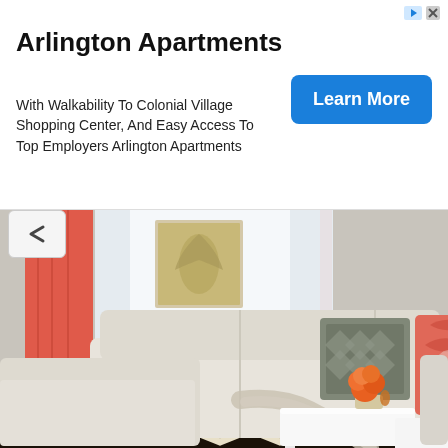Arlington Apartments
With Walkability To Colonial Village Shopping Center, And Easy Access To Top Employers Arlington Apartments
Learn More
[Figure (photo): A bright living room interior with coral/salmon colored curtains on both sides of large windows, white sectional sofa with patterned throw pillows (grey geometric and coral/pink), white coffee tables, orange flower arrangement, and a black and white chevron rug on the floor. Framed botanical/coral artwork on the walls.]